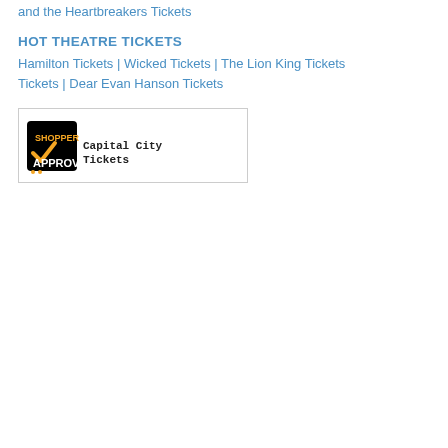and the Heartbreakers Tickets
HOT THEATRE TICKETS
Hamilton Tickets | Wicked Tickets | The Lion King Tickets | Dear Evan Hanson Tickets
[Figure (logo): Shopper Approved badge with checkmark logo and text 'Capital City Tickets']